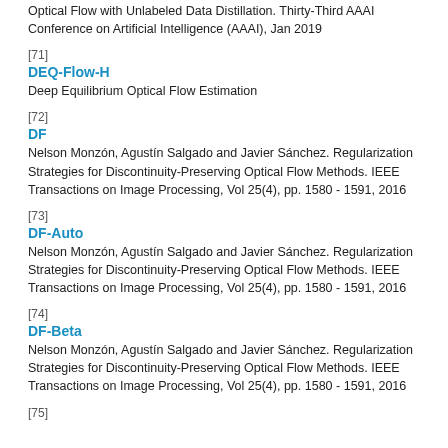Optical Flow with Unlabeled Data Distillation. Thirty-Third AAAI Conference on Artificial Intelligence (AAAI), Jan 2019
[71]
DEQ-Flow-H
Deep Equilibrium Optical Flow Estimation
[72]
DF
Nelson Monzón, Agustín Salgado and Javier Sánchez. Regularization Strategies for Discontinuity-Preserving Optical Flow Methods. IEEE Transactions on Image Processing, Vol 25(4), pp. 1580 - 1591, 2016
[73]
DF-Auto
Nelson Monzón, Agustín Salgado and Javier Sánchez. Regularization Strategies for Discontinuity-Preserving Optical Flow Methods. IEEE Transactions on Image Processing, Vol 25(4), pp. 1580 - 1591, 2016
[74]
DF-Beta
Nelson Monzón, Agustín Salgado and Javier Sánchez. Regularization Strategies for Discontinuity-Preserving Optical Flow Methods. IEEE Transactions on Image Processing, Vol 25(4), pp. 1580 - 1591, 2016
[75]